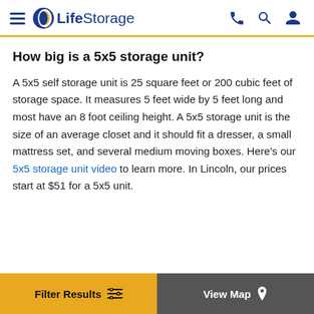LifeStorage
How big is a 5x5 storage unit?
A 5x5 self storage unit is 25 square feet or 200 cubic feet of storage space. It measures 5 feet wide by 5 feet long and most have an 8 foot ceiling height. A 5x5 storage unit is the size of an average closet and it should fit a dresser, a small mattress set, and several medium moving boxes. Here's our 5x5 storage unit video to learn more. In Lincoln, our prices start at $51 for a 5x5 unit.
Filter Results | View Map